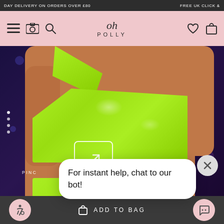DAY DELIVERY ON ORDERS OVER £80    FREE UK CLICK &
[Figure (screenshot): Oh Polly fashion website navigation bar with hamburger menu, camera, search icons on left, Oh Polly script logo in center, heart and bag icons on right, on pink background]
[Figure (photo): Model wearing neon green latex one-shoulder crop top and matching bottom against dark bokeh background]
For instant help, chat to our bot!
PINC
ADD TO BAG